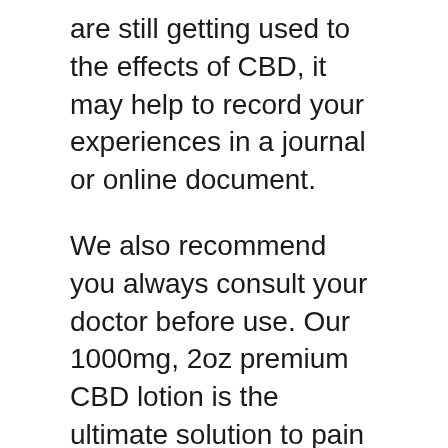are still getting used to the effects of CBD, it may help to record your experiences in a journal or online document.
We also recommend you always consult your doctor before use. Our 1000mg, 2oz premium CBD lotion is the ultimate solution to pain management and skin rejuvenation. Millions of cannabidiol lovers have used CBD lotion to treat arthritis, skin blemishes, inflammation, and more, and you can also use our CBD lotion as an anti-aging beauty product.
Here are the two methods used in calculating the proper dosage of CBD oil. Like we said earlier, the empirical formula for calculating CBD oil dosage is still under